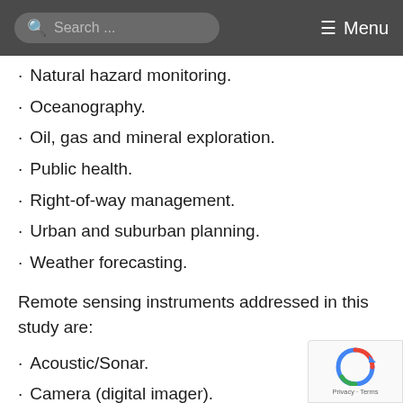Search ... Menu
Natural hazard monitoring.
Oceanography.
Oil, gas and mineral exploration.
Public health.
Right-of-way management.
Urban and suburban planning.
Weather forecasting.
Remote sensing instruments addressed in this study are:
Acoustic/Sonar.
Camera (digital imager).
Camera (film).
Gravity.
Hyperspectral.